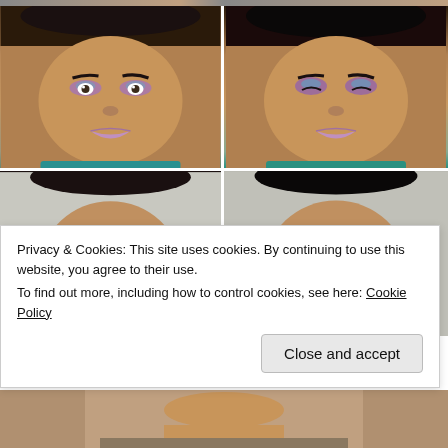[Figure (photo): Four portrait photos arranged in a 2x2 grid showing a young woman with colorful eye makeup (purple and teal eyeshadow) and lilac lips. Top row: eyes open (left), eyes closed (right). Bottom row: eyes partially open (left), eyes closed (right). White background visible in lower two photos.]
Privacy & Cookies: This site uses cookies. By continuing to use this website, you agree to their use.
To find out more, including how to control cookies, see here: Cookie Policy
Close and accept
[Figure (photo): Partial view of another portrait photo at the bottom of the page, cut off.]